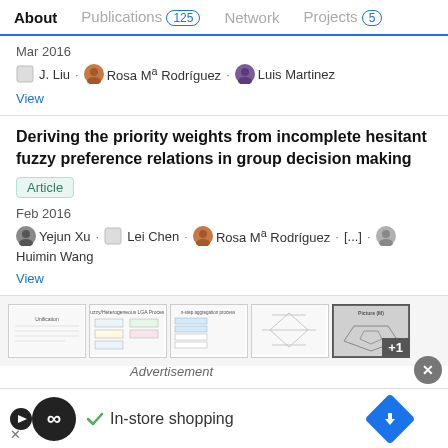About  Publications 125  Network  Projects 5
Mar 2016
J. Liu · Rosa Mª Rodríguez · Luis Martinez
View
Deriving the priority weights from incomplete hesitant fuzzy preference relations in group decision making
Article
Feb 2016
Yejun Xu · Lei Chen · Rosa Mª Rodríguez · [...] · Huimin Wang
View
[Figure (screenshot): Row of preview thumbnail images from publications, with +1 badge on last image]
Advertisement
In-store shopping